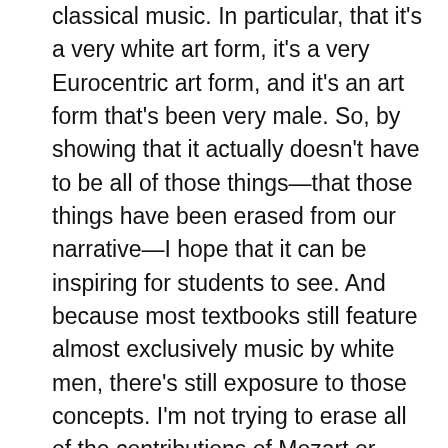classical music. In particular, that it's a very white art form, it's a very Eurocentric art form, and it's an art form that's been very male. So, by showing that it actually doesn't have to be all of those things—that those things have been erased from our narrative—I hope that it can be inspiring for students to see. And because most textbooks still feature almost exclusively music by white men, there's still exposure to those concepts. I'm not trying to erase all of the contributions of Mozart or Beethoven, because I think they made fantastic contributions to the history of Western classical music. But mostly, I'm trying to expand the narrative and show students that lots of different voices contributed to music history and to the development of what we call classical music in the Western style. I hope resources like this can provide representation for a much broader perspective of